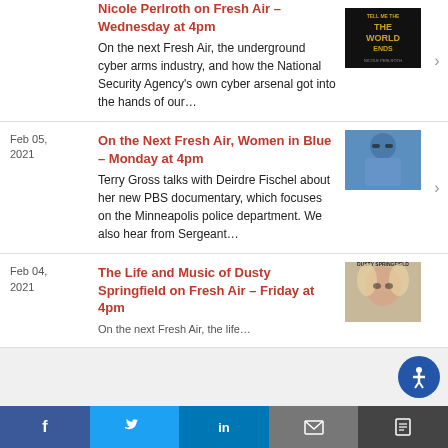Nicole Perlroth on Fresh Air – Wednesday at 4pm
On the next Fresh Air, the underground cyber arms industry, and how the National Security Agency's own cyber arsenal got into the hands of our...
Feb 05, 2021
On the Next Fresh Air, Women in Blue – Monday at 4pm
Terry Gross talks with Deirdre Fischel about her new PBS documentary, which focuses on the Minneapolis police department. We also hear from Sergeant...
Feb 04, 2021
The Life and Music of Dusty Springfield on Fresh Air – Friday at 4pm
On the next Fresh Air, the life...
[Figure (other): Social sharing bar with Facebook, Twitter, LinkedIn, Email, and Share buttons]